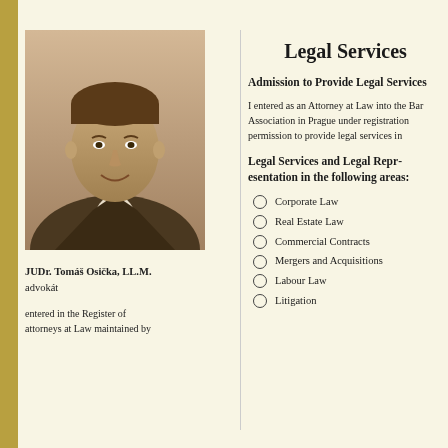[Figure (photo): Black and white portrait photo of JUDr. Tomáš Osička, LL.M., a man in a suit and tie, smiling]
JUDr. Tomáš Osička, LL.M.
advokát
entered in the Register of attorneys at Law maintained by
Legal Services
Admission to Provide Legal Services
I entered as an Attorney at Law into the Bar Association in Prague under registration permission to provide legal services in
Legal Services and Legal Representation in the following areas:
Corporate Law
Real Estate Law
Commercial Contracts
Mergers and Acquisitions
Labour Law
Litigation